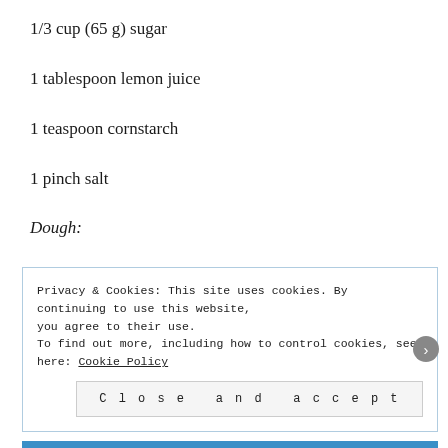1/3 cup (65 g) sugar
1 tablespoon lemon juice
1 teaspoon cornstarch
1 pinch salt
Dough:
5 tablespoons (70 g) unsalted butter, melted
Privacy & Cookies: This site uses cookies. By continuing to use this website, you agree to their use.
To find out more, including how to control cookies, see here: Cookie Policy
Close and accept